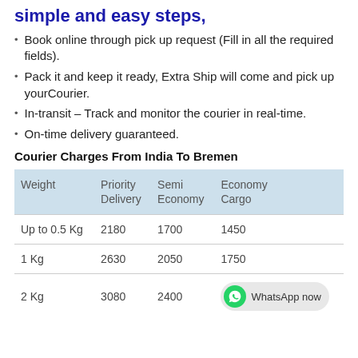simple and easy steps,
Book online through pick up request (Fill in all the required fields).
Pack it and keep it ready, Extra Ship will come and pick up yourCourier.
In-transit – Track and monitor the courier in real-time.
On-time delivery guaranteed.
Courier Charges From India To Bremen
| Weight | Priority Delivery | Semi Economy | Economy Cargo |
| --- | --- | --- | --- |
| Up to 0.5 Kg | 2180 | 1700 | 1450 |
| 1 Kg | 2630 | 2050 | 1750 |
| 2 Kg | 3080 | 2400 |  |